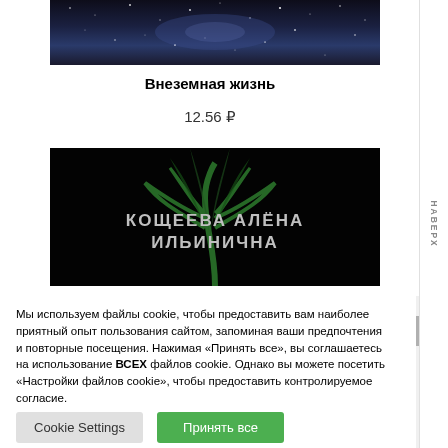[Figure (photo): Top portion of a book cover showing a galaxy/space image with stars]
Внеземная жизнь
12.56 ₽
[Figure (photo): Book cover with dark background, green plant/flame design, and author name КОЩЕЕВА АЛЁНА ИЛЬИНИЧНА in gray text]
Мы используем файлы cookie, чтобы предоставить вам наиболее приятный опыт пользования сайтом, запоминая ваши предпочтения и повторные посещения. Нажимая «Принять все», вы соглашаетесь на использование ВСЕХ файлов cookie. Однако вы можете посетить «Настройки файлов cookie», чтобы предоставить контролируемое согласие.
Cookie Settings
Принять все